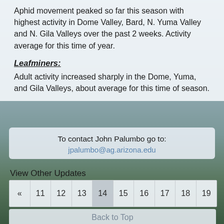Aphid movement peaked so far this season with highest activity in Dome Valley, Bard, N. Yuma Valley and N. Gila Valleys over the past 2 weeks. Activity average for this time of year.
Leafminers:
Adult activity increased sharply in the Dome, Yuma, and Gila Valleys, about average for this time of season.
To contact John Palumbo go to:
jpalumbo@ag.arizona.edu
View Other Updates
« 11 12 13 14 15 16 17 18 19
Back to Top